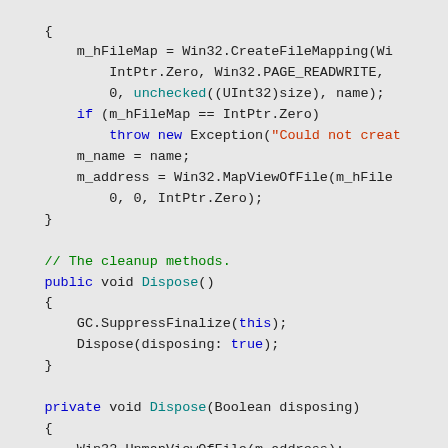Code snippet showing C# memory-mapped file class methods including CreateFileMapping, Dispose, and cleanup logic.